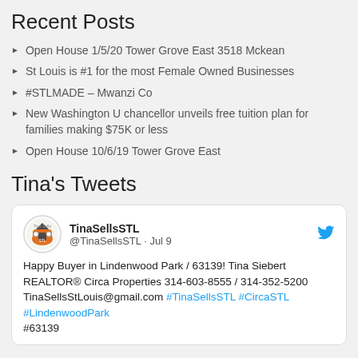Recent Posts
Open House 1/5/20 Tower Grove East 3518 Mckean
St Louis is #1 for the most Female Owned Businesses
#STLMADE – Mwanzi Co
New Washington U chancellor unveils free tuition plan for families making $75K or less
Open House 10/6/19 Tower Grove East
Tina's Tweets
TinaSellsSTL @TinaSellsSTL · Jul 9
Happy Buyer in Lindenwood Park / 63139! Tina Siebert REALTOR® Circa Properties 314-603-8555 / 314-352-5200 TinaSellsStLouis@gmail.com #TinaSellsSTL #CircaSTL #LindenwoodPark #63139